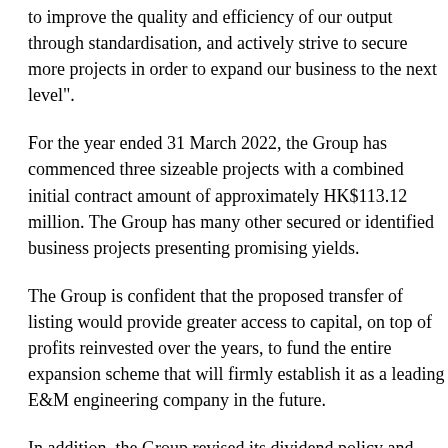to improve the quality and efficiency of our output through standardisation, and actively strive to secure more projects in order to expand our business to the next level".
For the year ended 31 March 2022, the Group has commenced three sizeable projects with a combined initial contract amount of approximately HK$113.12 million. The Group has many other secured or identified business projects presenting promising yields.
The Group is confident that the proposed transfer of listing would provide greater access to capital, on top of profits reinvested over the years, to fund the entire expansion scheme that will firmly establish it as a leading E&M engineering company in the future.
In addition, the Group revised its dividend policy and undertakes to distribute dividend at a rate of no less than 30% of the annual consolidated net profit